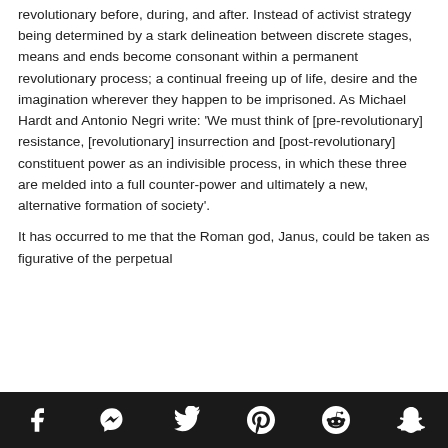revolutionary before, during, and after. Instead of activist strategy being determined by a stark delineation between discrete stages, means and ends become consonant within a permanent revolutionary process; a continual freeing up of life, desire and the imagination wherever they happen to be imprisoned. As Michael Hardt and Antonio Negri write: 'We must think of [pre-revolutionary] resistance, [revolutionary] insurrection and [post-revolutionary] constituent power as an indivisible process, in which these three are melded into a full counter-power and ultimately a new, alternative formation of society'.
It has occurred to me that the Roman god, Janus, could be taken as figurative of the perpetual
Social share icons: Facebook, Messenger, Twitter, Pinterest, Reddit, Snapchat